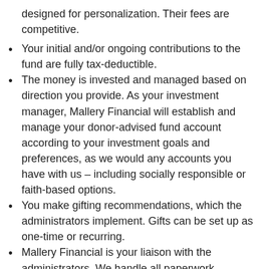designed for personalization. Their fees are competitive.
Your initial and/or ongoing contributions to the fund are fully tax-deductible.
The money is invested and managed based on direction you provide. As your investment manager, Mallery Financial will establish and manage your donor-advised fund account according to your investment goals and preferences, as we would any accounts you have with us – including socially responsible or faith-based options.
You make gifting recommendations, which the administrators implement. Gifts can be set up as one-time or recurring.
Mallery Financial is your liaison with the administrators. We handle all paperwork, account setup, recommendations/gifting requests, and reporting to you.